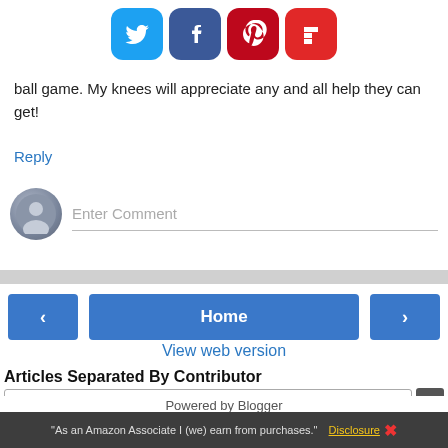[Figure (infographic): Social sharing icons row: Twitter (blue), Facebook (dark blue), Pinterest (red), Flipboard (red) — rounded square buttons]
ball game. My knees will appreciate any and all help they can get!
Reply
[Figure (infographic): Comment input area with gray avatar circle and Enter Comment placeholder text with underline]
[Figure (infographic): Navigation bar with left arrow button, Home center button, right arrow button]
View web version
Articles Separated By Contributor
[Figure (infographic): Dropdown selector showing 'Home' with arrow button]
[Figure (infographic): Dropdown selector showing 'Home' with arrow button]
"As an Amazon Associate I (we) earn from purchases." Disclosure X